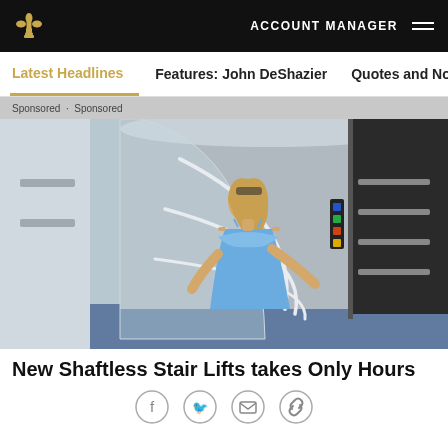ACCOUNT MANAGER
Latest Headlines | Features: John DeShazier | Quotes and Notes
Sponsored · Sponsored
[Figure (photo): Woman in blue dress standing inside a shaftless stair lift / elevator pod with curved glass door and chrome rails. Dark cabinet with horizontal bars on the right side.]
New Shaftless Stair Lifts takes Only Hours